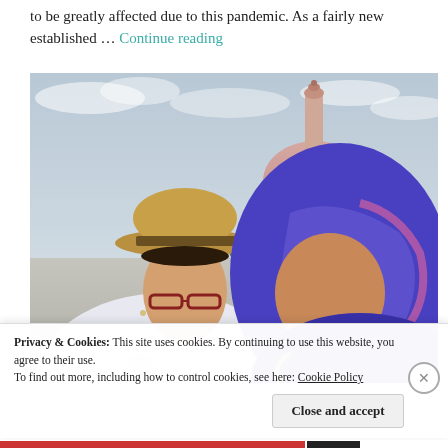to be greatly affected due to this pandemic. As a fairly new established … Continue reading
[Figure (photo): Two women smiling together in a selfie photo in front of a large pink mosque with a minaret. The woman on the left wears a straw hat and glasses; the woman on the right wears a blue and pink hijab.]
Privacy & Cookies: This site uses cookies. By continuing to use this website, you agree to their use.
To find out more, including how to control cookies, see here: Cookie Policy
Close and accept